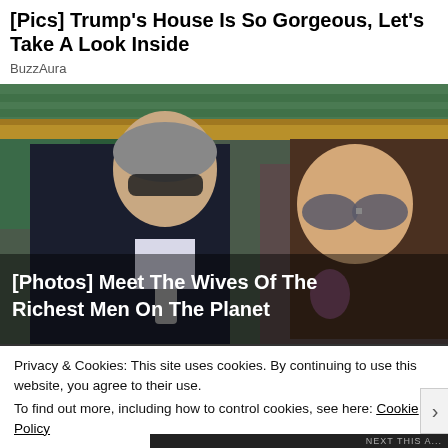[Pics] Trump's House Is So Gorgeous, Let's Take A Look Inside
BuzzAura
[Figure (photo): Two people sitting in stadium seating. A man in a dark suit with grey tie wearing sunglasses on the left, and a woman with long brown hair wearing mirrored aviator sunglasses on the right. Green seats visible in background. Overlaid text reads: [Photos] Meet The Wives Of The Richest Men On The Planet]
Privacy & Cookies: This site uses cookies. By continuing to use this website, you agree to their use.
To find out more, including how to control cookies, see here: Cookie Policy
Close and accept